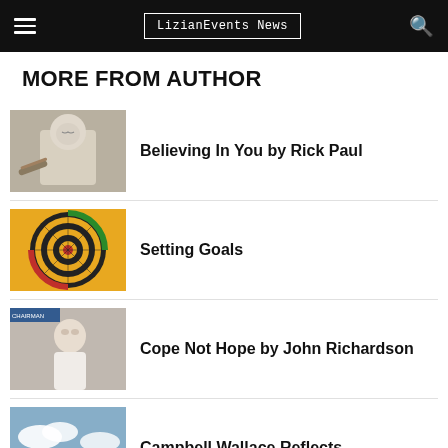LizianEvents News
MORE FROM AUTHOR
[Figure (photo): White Buddha statue with rope beside it]
Believing In You by Rick Paul
[Figure (photo): Yellow and black dartboard with colored rings]
Setting Goals
[Figure (photo): Portrait of John Richardson in white shirt]
Cope Not Hope by John Richardson
[Figure (photo): Person with arms spread on a mountain landscape with clouds]
Campbell Wallace Reflects